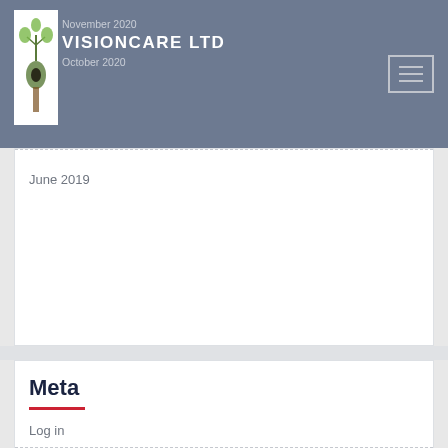November 2020 VISIONCARE LTD October 2020
June 2019
Meta
Log in
Entries feed
Comments feed